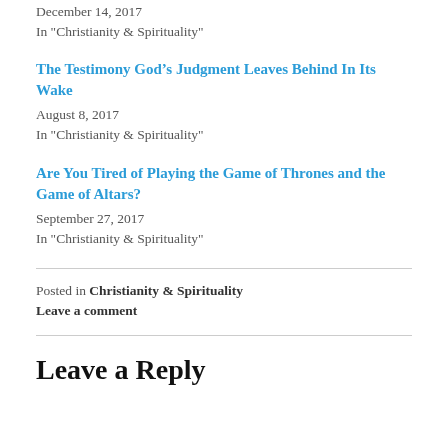December 14, 2017
In "Christianity & Spirituality"
The Testimony God’s Judgment Leaves Behind In Its Wake
August 8, 2017
In "Christianity & Spirituality"
Are You Tired of Playing the Game of Thrones and the Game of Altars?
September 27, 2017
In "Christianity & Spirituality"
Posted in Christianity & Spirituality
Leave a comment
Leave a Reply